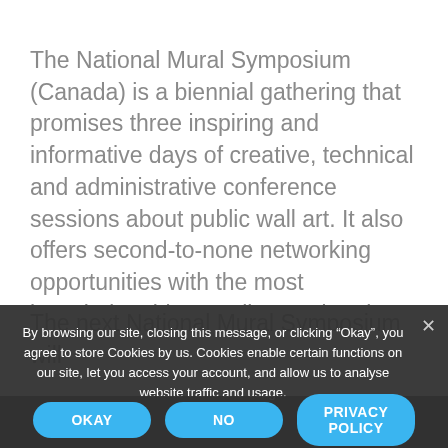The National Mural Symposium (Canada) is a biennial gathering that promises three inspiring and informative days of creative, technical and administrative conference sessions about public wall art. It also offers second-to-none networking opportunities with the most knowledgeable muralists and project administrators in the field.
The next National Mural Symposium will a...
By browsing our site, closing this message, or clicking “Okay”, you agree to store Cookies by us. Cookies enable certain functions on our site, let you access your account, and allow us to analyse website traffic and usage.